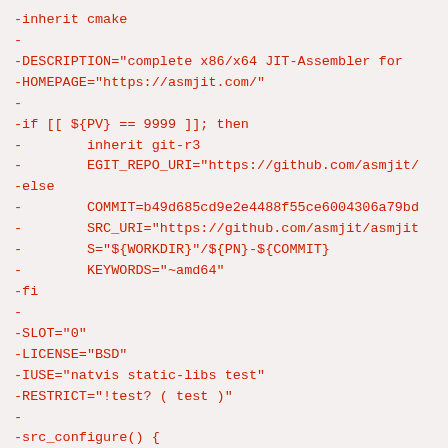-inherit cmake
-
-DESCRIPTION="complete x86/x64 JIT-Assembler for
-HOMEPAGE="https://asmjit.com/"
-
-if [[ ${PV} == 9999 ]]; then
-        inherit git-r3
-        EGIT_REPO_URI="https://github.com/asmjit/
-else
-        COMMIT=b49d685cd9e2e4488f55ce6004306a79bd
-        SRC_URI="https://github.com/asmjit/asmjit
-        S="${WORKDIR}"/${PN}-${COMMIT}
-        KEYWORDS="~amd64"
-fi
-
-SLOT="0"
-LICENSE="BSD"
-IUSE="natvis static-libs test"
-RESTRICT="!test? ( test )"
-
-src_configure() {
-        local mycmakeconf(